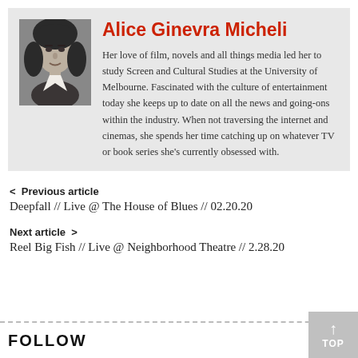[Figure (photo): Black and white photo of Alice Ginevra Micheli]
Alice Ginevra Micheli
Her love of film, novels and all things media led her to study Screen and Cultural Studies at the University of Melbourne. Fascinated with the culture of entertainment today she keeps up to date on all the news and going-ons within the industry. When not traversing the internet and cinemas, she spends her time catching up on whatever TV or book series she's currently obsessed with.
< Previous article
Deepfall // Live @ The House of Blues // 02.20.20
Next article >
Reel Big Fish // Live @ Neighborhood Theatre // 2.28.20
FOLLOW